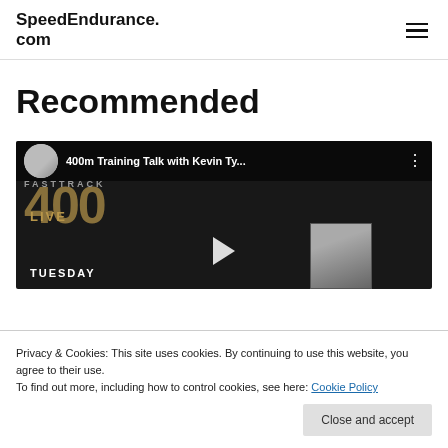SpeedEndurance.com
Recommended
[Figure (screenshot): YouTube video thumbnail showing '400m Training Talk with Kevin Ty...' with a play button, FASTTRACK 400 LIVE text overlay, TUESDAY label, and MIKE HURST inset thumbnail]
Privacy & Cookies: This site uses cookies. By continuing to use this website, you agree to their use.
To find out more, including how to control cookies, see here: Cookie Policy
Close and accept
Shop Our Store